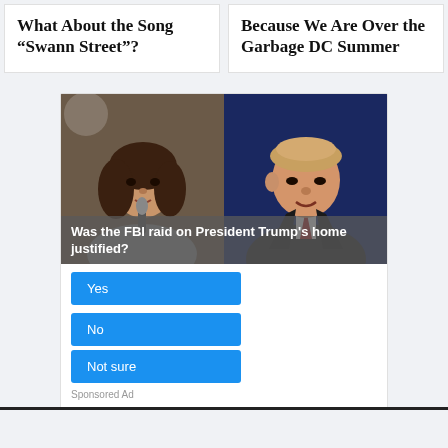What About the Song “Swann Street”?
Because We Are Over the Garbage DC Summer
[Figure (photo): Split photo showing two politicians side by side with poll overlay: 'Was the FBI raid on President Trump's home justified?' with Yes, No, and Not sure buttons. Sponsored Ad label at bottom.]